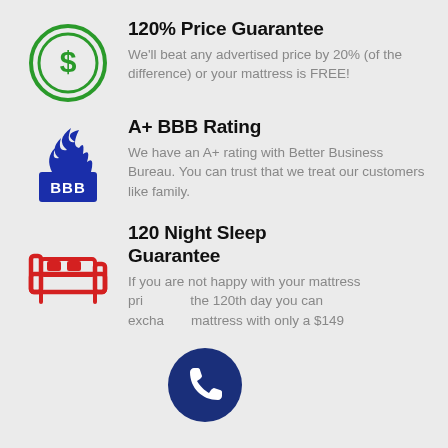[Figure (infographic): Green circle with dollar sign icon for 120% Price Guarantee]
120% Price Guarantee
We'll beat any advertised price by 20% (of the difference) or your mattress is FREE!
[Figure (logo): Blue BBB (Better Business Bureau) flame and badge logo]
A+ BBB Rating
We have an A+ rating with Better Business Bureau. You can trust that we treat our customers like family.
[Figure (illustration): Red bed/mattress icon for 120 Night Sleep Guarantee]
120 Night Sleep Guarantee
If you are not happy with your mattress prior the 120th day you can exchange mattress with only a $149
[Figure (illustration): Dark blue circular phone/call button badge overlapping the text]